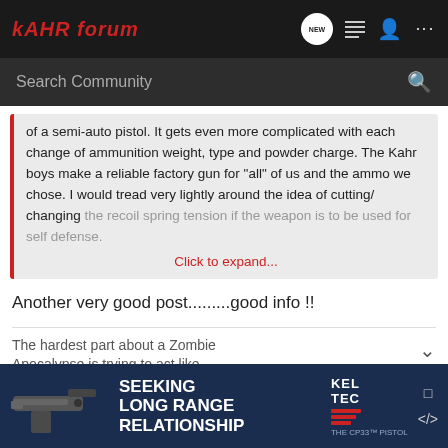KahrForum
Search Community
of a semi-auto pistol. It gets even more complicated with each change of ammunition weight, type and powder charge. The Kahr boys make a reliable factory gun for "all" of us and the ammo we chose. I would tread very lightly around the idea of cutting/ changing the recoil spring tension if the weapon is to be used for self defense.
Click to expand...
Another very good post.........good info !!
The hardest part about a Zombie Apocalypse is trying to act like
lefty68
[Figure (screenshot): Kel-Tec CP33 pistol advertisement banner reading SEEKING LONG RANGE RELATIONSHIP with KEL-TEC logo and gun image]